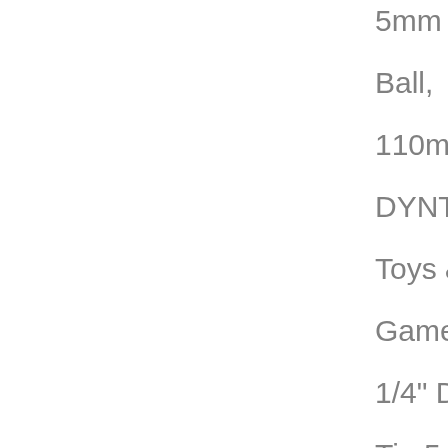5mm with Ball, 110mm L, DYNT1173: Toys & Games. 1/4" Drive Tip 5mm w/ball 110mm L ■ Part Number: DYNT1173 ■ Brand: Dynamite ■ 1/4" Drive Tip 5mm w/ball